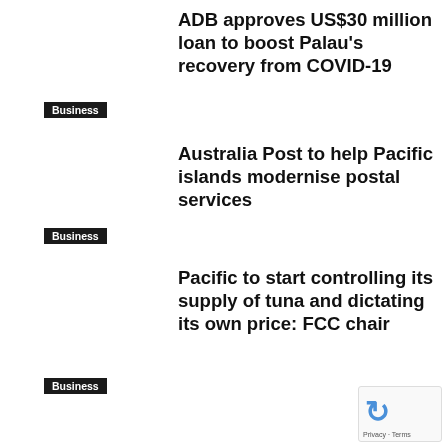ADB approves US$30 million loan to boost Palau's recovery from COVID-19
Business
Australia Post to help Pacific islands modernise postal services
Business
Pacific to start controlling its supply of tuna and dictating its own price: FCC chair
Business
Australian PM Albanese defends record in Pacific amid concerns of Chinese influence
Business
PAFCO suffered $2m loss in 201 Manpower will be an issue